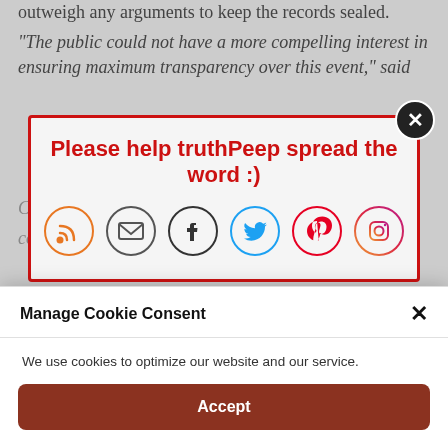outweigh any arguments to keep the records sealed.
“The public could not have a more compelling interest in ensuring maximum transparency over this event,” said C… co…
[Figure (infographic): Social share popup with red border. Title: 'Please help truthPeep spread the word :)'. Six social icons: RSS (orange), Email (dark), Facebook (dark), Twitter (blue), Pinterest (red), Instagram (gradient). Close button (black circle with X) in top-right corner.]
Th… co… the li…
In the bigger picture there is no ‘trust’ left for the DOJ or FBI to lose.  Even the illusion of integrity from within the
Manage Cookie Consent
We use cookies to optimize our website and our service.
Accept